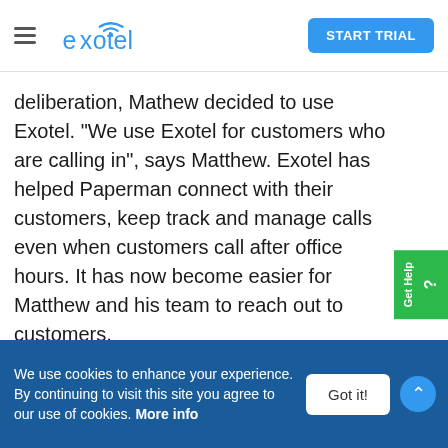Exotel — START TRIAL
deliberation, Mathew decided to use Exotel. “We use Exotel for customers who are calling in”, says Matthew. Exotel has helped Paperman connect with their customers, keep track and manage calls even when customers call after office hours. It has now become easier for Matthew and his team to reach out to customers.
What’s best is Exotel connects well with our APIs.
We use cookies to enhance your experience. By continuing to visit this site you agree to our use of cookies. More info